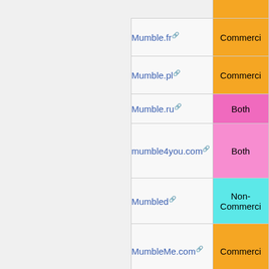| Name | Type |
| --- | --- |
| Mumble.fr | Commercial |
| Mumble.pl | Commercial |
| Mumble.ru | Both |
| mumble4you.com | Both |
| Mumbled | Non-Commercial |
| MumbleMe.com | Commercial |
| MumbleVoice.com | Commercial |